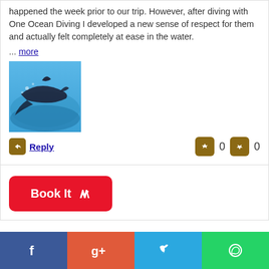happened the week prior to our trip. However, after diving with One Ocean Diving I developed a new sense of respect for them and actually felt completely at ease in the water.
... more
[Figure (photo): Underwater photo showing a shark or marine animal swimming]
Reply  0  0
Book It
Privacy Policy
Terms of Service
Contact Us
FAQs
helicopter tours
[Figure (infographic): Social media bar with Facebook, Google+, Twitter, and WhatsApp icons]